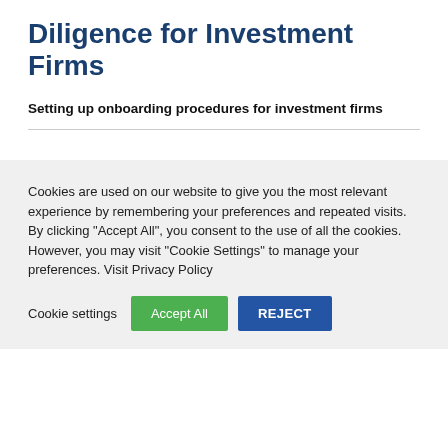Diligence for Investment Firms
Setting up onboarding procedures for investment firms
Cookies are used on our website to give you the most relevant experience by remembering your preferences and repeated visits. By clicking "Accept All", you consent to the use of all the cookies. However, you may visit "Cookie Settings" to manage your preferences. Visit Privacy Policy
Cookie settings | Accept All | REJECT